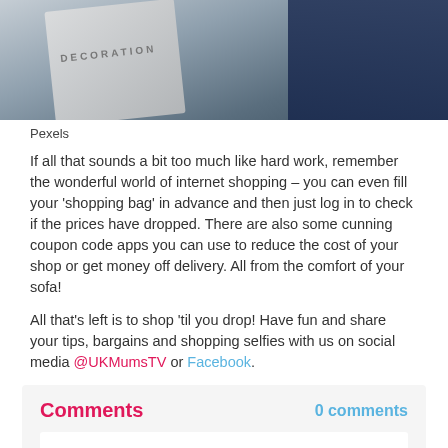[Figure (photo): Top portion of a photo showing shopping bags, partially cropped]
Pexels
If all that sounds a bit too much like hard work, remember the wonderful world of internet shopping – you can even fill your 'shopping bag' in advance and then just log in to check if the prices have dropped. There are also some cunning coupon code apps you can use to reduce the cost of your shop or get money off delivery. All from the comfort of your sofa!
All that's left is to shop 'til you drop! Have fun and share your tips, bargains and shopping selfies with us on social media @UKMumsTV or Facebook.
Comments
0 comments
Please sign in or register to leave comments on this page.